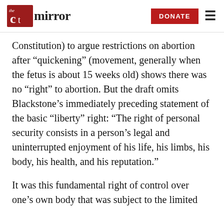the mirror | DONATE
Constitution) to argue restrictions on abortion after “quickening” (movement, generally when the fetus is about 15 weeks old) shows there was no “right” to abortion. But the draft omits Blackstone’s immediately preceding statement of the basic “liberty” right: “The right of personal security consists in a person’s legal and uninterrupted enjoyment of his life, his limbs, his body, his health, and his reputation.”
It was this fundamental right of control over one’s own body that was subject to the limited